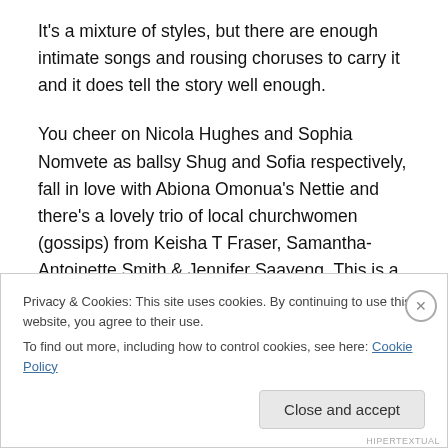It's a mixture of styles, but there are enough intimate songs and rousing choruses to carry it and it does tell the story well enough.
You cheer on Nicola Hughes and Sophia Nomvete as ballsy Shug and Sofia respectively, fall in love with Abiona Omonua's Nettie and there's a lovely trio of local churchwomen (gossips) from Keisha T Fraser, Samantha-Antoinette Smith & Jennifer Saayeng. This is a show written for the girls, but Christopher Colquhoun does well as the deeply unsympathetic Mister, the man you love to
Privacy & Cookies: This site uses cookies. By continuing to use this website, you agree to their use.
To find out more, including how to control cookies, see here: Cookie Policy
Close and accept